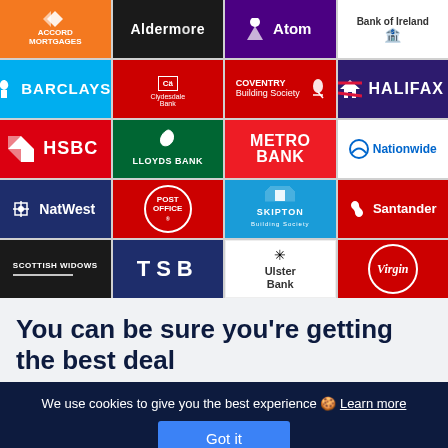[Figure (infographic): Grid of 20 UK bank and lender logos: Accord Mortgages, Aldermore, Atom, Bank of Ireland, Barclays, Clydesdale Bank, Coventry Building Society, Halifax, HSBC, Lloyds Bank, Metro Bank, Nationwide, NatWest, Post Office, Skipton Building Society, Santander, Scottish Widows, TSB, Ulster Bank, Virgin]
You can be sure you're getting the best deal
We use cookies to give you the best experience 🍪 Learn more
Got it